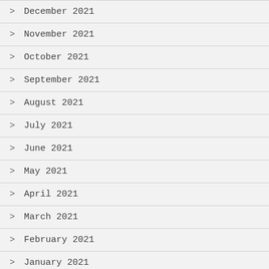> December 2021
> November 2021
> October 2021
> September 2021
> August 2021
> July 2021
> June 2021
> May 2021
> April 2021
> March 2021
> February 2021
> January 2021
> December 2020